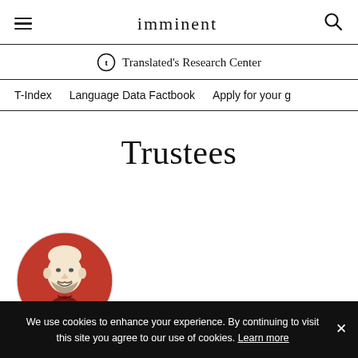imminent
Translated's Research Center
T-Index   Language Data Factbook   Apply for your g
Trustees
[Figure (illustration): Circular avatar illustration of a man with a bald head and beard, wearing a dark red/maroon shirt, sketch-style portrait with reddish background circle]
We use cookies to enhance your experience. By continuing to visit this site you agree to our use of cookies. Learn more